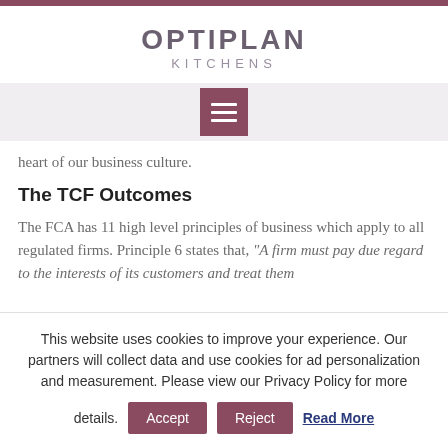OPTIPLAN KITCHENS
heart of our business culture.
The TCF Outcomes
The FCA has 11 high level principles of business which apply to all regulated firms. Principle 6 states that, “A firm must pay due regard to the interests of its customers and treat them fairly.”
This website uses cookies to improve your experience. Our partners will collect data and use cookies for ad personalization and measurement. Please view our Privacy Policy for more details.